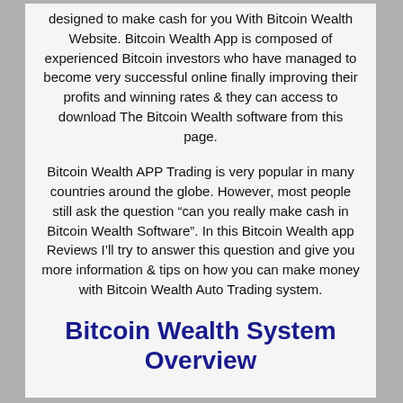designed to make cash for you With Bitcoin Wealth Website. Bitcoin Wealth App is composed of experienced Bitcoin investors who have managed to become very successful online finally improving their profits and winning rates & they can access to download The Bitcoin Wealth software from this page.
Bitcoin Wealth APP Trading is very popular in many countries around the globe. However, most people still ask the question “can you really make cash in Bitcoin Wealth Software”. In this Bitcoin Wealth app Reviews I’ll try to answer this question and give you more information & tips on how you can make money with Bitcoin Wealth Auto Trading system.
Bitcoin Wealth System Overview